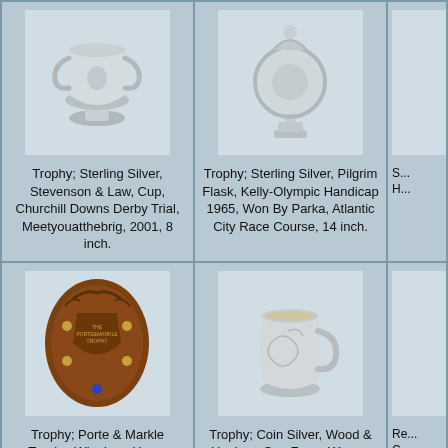[Figure (photo): Silver trophy cup with two handles, Stevenson & Law]
Trophy; Sterling Silver, Stevenson & Law, Cup, Churchill Downs Derby Trial, Meetyouatthebrig, 2001, 8 inch.
[Figure (photo): Sterling silver pilgrim flask trophy, Kelly-Olympic Handicap 1965]
Trophy; Sterling Silver, Pilgrim Flask, Kelly-Olympic Handicap 1965, Won By Parka, Atlantic City Race Course, 14 inch.
[Figure (photo): Partial view of another trophy (cropped at right edge)]
S... H...
[Figure (photo): Porte & Markle Trophy wooden oval plaque with engraved shield, fox hunt motif]
Trophy; Porte & Markle Trophy, Winnipeg Horse Show, Wood Plaque, Fox Hunt Engraved Shield, 1912-14, 22 inch.
[Figure (photo): Coin silver cup form trophy, Wood & Hughes, Warren County Mississippi Agricultural Society]
Trophy; Coin Silver, Wood & Hughes, Cup Form, Warren County Mississippi Agricultural Society, 3 inch.
Re... C...